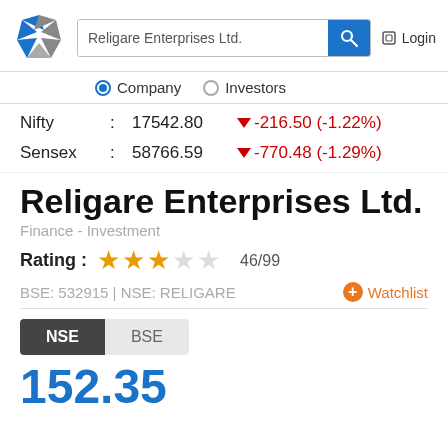[Figure (logo): Religare star logo]
Religare Enterprises Ltd.
Company  Investors
Nifty : 17542.80 ▼ -216.50 (-1.22%)
Sensex : 58766.59 ▼ -770.48 (-1.29%)
Religare Enterprises Ltd.
Finance - Investment
Rating :  ★★★☆☆  46/99
BSE: 532915 | NSE: RELIGARE
+ Watchlist
NSE  BSE
152.35